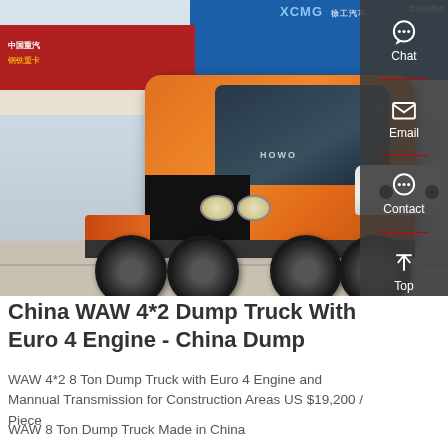[Figure (photo): Orange HOWO heavy-duty truck (tractor unit) parked in front of a dealership with red and blue storefronts, including XCMG signage. The truck is bright orange with a black front grille and multiple axles.]
China WAW 4*2 Dump Truck With Euro 4 Engine - China Dump
WAW 4*2 8 Ton Dump Truck with Euro 4 Engine and Mannual Transmission for Construction Areas US $19,200 / Piece
WAW 8 Ton Dump Truck Made in China